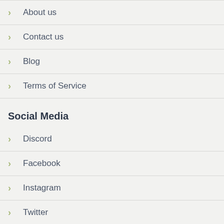> About us
> Contact us
> Blog
> Terms of Service
Social Media
> Discord
> Facebook
> Instagram
> Twitter